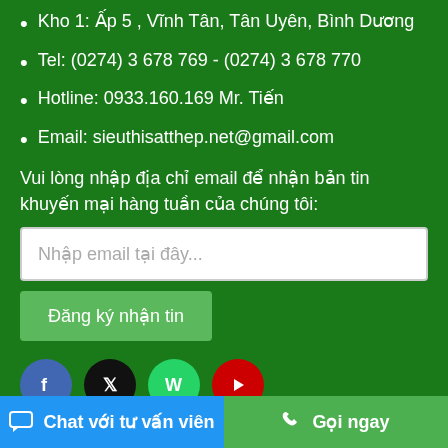Kho 1: Ấp 5 , Vĩnh Tân, Tân Uyên, Bình Dương
Tel: (0274) 3 678 769 - (0274) 3 678 770
Hotline: 0933.160.169 Mr. Tiến
Email: sieuthisatthep.net@gmail.com
Vui lòng nhập địa chỉ email để nhận bản tin khuyến mại hàng tuần của chúng tôi:
Nhập email tại đây...
Đăng ký nhận tin
[Figure (infographic): Social media icons: Facebook (blue circle), Twitter/X (black circle), WhatsApp (green circle), YouTube (red circle)]
Chat với tư vấn viên
Gọi ngay
Zalo, Yz.Co, Thop Hinh